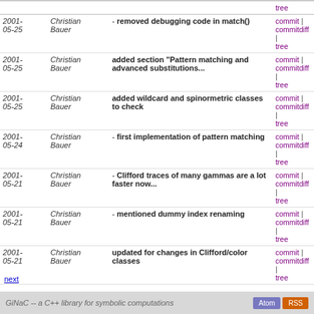| Date | Author | Message | Links |
| --- | --- | --- | --- |
| 2001-05-25 | Christian Bauer | - removed debugging code in match() | commit | commitdiff | tree |
| 2001-05-25 | Christian Bauer | added section "Pattern matching and advanced substitutions..." | commit | commitdiff | tree |
| 2001-05-25 | Christian Bauer | added wildcard and spinormetric classes to check | commit | commitdiff | tree |
| 2001-05-24 | Christian Bauer | - first implementation of pattern matching | commit | commitdiff | tree |
| 2001-05-21 | Christian Bauer | - Clifford traces of many gammas are a lot faster now... | commit | commitdiff | tree |
| 2001-05-21 | Christian Bauer | - mentioned dummy index renaming | commit | commitdiff | tree |
| 2001-05-21 | Christian Bauer | updated for changes in Clifford/color classes | commit | commitdiff | tree |
| 2001-05-19 | Christian Bauer | replaced "precedence" static member variable by virtual... | commit | commitdiff | tree |
| 2001-05-19 | Christian Bauer | - dummy index renamer didn't account for internal dummy... | commit | commitdiff | tree |
| 2001-05-19 | Christian Bauer | added one more check | commit | commitdiff | tree |
| 2001-05-19 | Christian Bauer | documentation update | commit | commitdiff | tree |
next
GiNaC -- a C++ library for symbolic computations